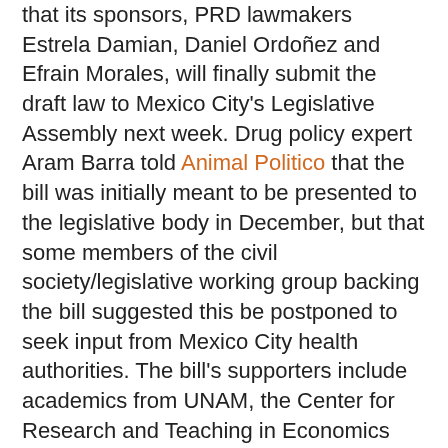that its sponsors, PRD lawmakers Estrela Damian, Daniel Ordoñez and Efrain Morales, will finally submit the draft law to Mexico City's Legislative Assembly next week. Drug policy expert Aram Barra told Animal Politico that the bill was initially meant to be presented to the legislative body in December, but that some members of the civil society/legislative working group backing the bill suggested this be postponed to seek input from Mexico City health authorities. The bill's supporters include academics from UNAM, the Center for Research and Teaching in Economics (CIDE) as well as drug policy and citizen security reform groups Espolea, the Collective for an Integrated Drug Policy (CUPIHD) and Mexico United Against Crime (MUCD), according to Barra.
The bill does not appear to be available online yet, but a version obtained by El Universal in December included provisions which would set up dispensaries around the city to provide users with safe access to the drug, as well as information about the associated risks and how to seek treatment for drug addiction. It would build off a 2009 federal law which decriminalized the possession of up to 5 grams of